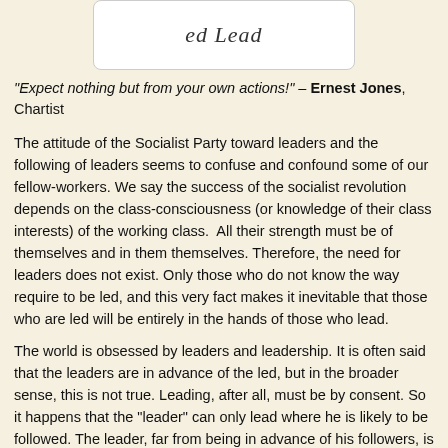[Figure (other): Partial image of a book or document cover showing the text 'ed Lead' in italic serif font, partially cropped, inside a white rounded rectangle box.]
"Expect nothing but from your own actions!" – Ernest Jones, Chartist
The attitude of the Socialist Party toward leaders and the following of leaders seems to confuse and confound some of our fellow-workers. We say the success of the socialist revolution depends on the class-consciousness (or knowledge of their class interests) of the working class.  All their strength must be of themselves and in them themselves. Therefore, the need for leaders does not exist. Only those who do not know the way require to be led, and this very fact makes it inevitable that those who are led will be entirely in the hands of those who lead.
The world is obsessed by leaders and leadership. It is often said that the leaders are in advance of the led, but in the broader sense, this is not true. Leading, after all, must be by consent. So it happens that the "leader" can only lead where he is likely to be followed. The leader, far from being in advance of his followers, is only the reflection of it.